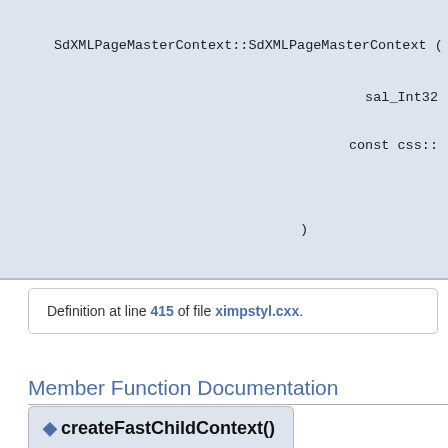SdXMLPageMasterContext::SdXMLPageMasterContext ( SdXMLImp  sal_Int32  const css::  )
Definition at line 415 of file ximpstyl.cxx.
Member Function Documentation
◆ createFastChildContext()  css::uno::Reference< css::xml::sax::XFastContextHandler > SdXMLPageMasterContext::createFastChildContext ( sal_Int32  const css::uno  )